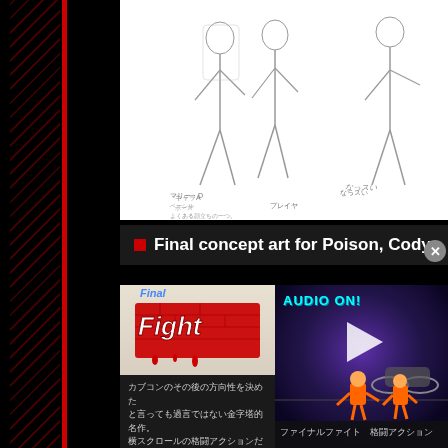[Figure (illustration): Character concept art sketches (pencil drawings) showing Poison, Cody, Guy and other Final Fight characters in various poses on white background]
Final concept art for Poison, Cody, Guy, B...
[Figure (photo): Final Fight game logo card with red brick background and Japanese text description]
[Figure (screenshot): Video thumbnail with AUDIO ON! text, play button overlay, purple lighting background with motorcycle and orange characters visible at bottom]